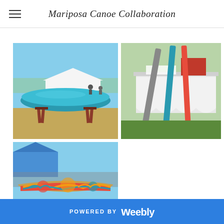Mariposa Canoe Collaboration
[Figure (photo): A teal/blue canoe displayed on wooden sawhorses at an outdoor fair or event, with tents and people visible in the background under a sunny sky.]
[Figure (photo): Colorful canoe paddles leaning against a white-cloth-covered display table at an outdoor event, grass visible in foreground.]
[Figure (photo): Close-up of a colorful painted canoe interior showing vibrant swirling patterns in orange, teal, and red hues, at an outdoor fair with tent and crowd visible in background.]
POWERED BY weebly